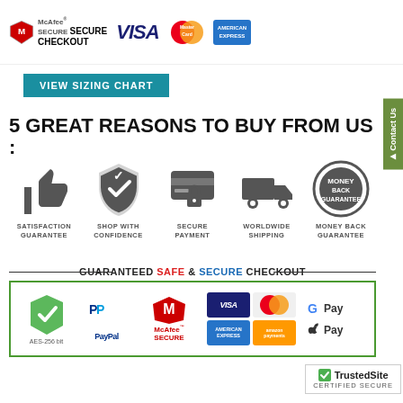[Figure (infographic): McAfee Secure Checkout badge, VISA logo, MasterCard logo, American Express logo in top payment bar]
[Figure (infographic): Teal button reading VIEW SIZING CHART]
5 GREAT REASONS TO BUY FROM US :
[Figure (infographic): Five icons: thumbs up (Satisfaction Guarantee), shield with checkmark (Shop With Confidence), credit card with lock (Secure Payment), delivery truck (Worldwide Shipping), circular badge (Money Back Guarantee)]
[Figure (infographic): GUARANTEED SAFE & SECURE CHECKOUT banner with AES-256 bit badge, PayPal, McAfee Secure, Visa, MasterCard, American Express, amazon payments, G Pay, Apple Pay logos]
[Figure (infographic): TrustedSite CERTIFIED SECURE badge in bottom right corner]
[Figure (infographic): Contact Us vertical green tab on right side]